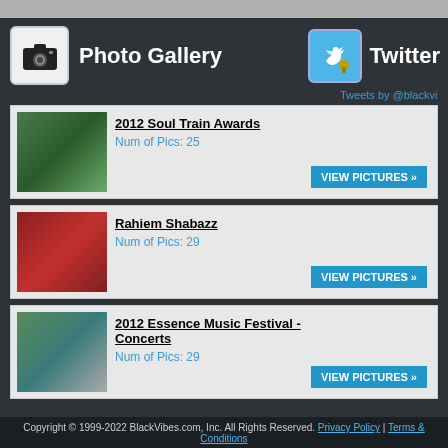Photo Gallery
Twitter
Tweets by @blackvi
[Figure (photo): 2012 Soul Train Awards photo thumbnail]
2012 Soul Train Awards
Num of Pics: 25
VIEW PICTURES »
[Figure (photo): Rahiem Shabazz photo thumbnail]
Rahiem Shabazz
Num of Pics: 29
VIEW PICTURES »
[Figure (photo): 2012 Essence Music Festival - Concerts photo thumbnail]
2012 Essence Music Festival - Concerts
Num of Pics: 29
VIEW PICTURES »
Copyright © 1999-2022 BlackVibes.com, Inc. All Rights Reserved. Privacy Policy | Terms & Conditions